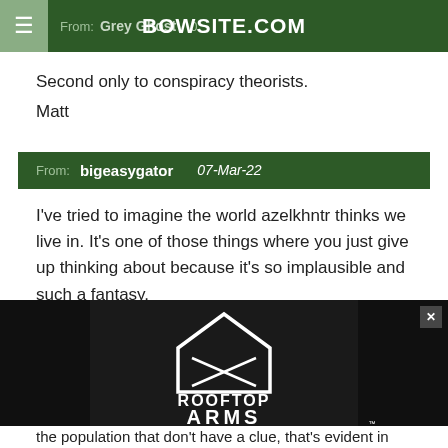From: Grey Ghost   BOWSITE.COM
Second only to conspiracy theorists.
Matt
From: bigeasygator   07-Mar-22
I've tried to imagine the world azelkhntr thinks we live in. It's one of those things where you just give up thinking about because it's so implausible and such a fantasy.
[Figure (advertisement): Rooftop Arms advertisement banner with logo, crossed rifles inside a house outline, text: Range Ready | Ultra Premium | Custom | Hand Assembled Guns, Click to enter our $1000 raffle now, USA MADE - VETERAN OWNED]
the population that don't have a clue, that's evident in the fact